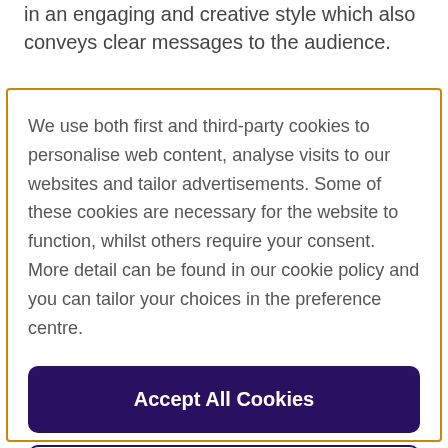in an engaging and creative style which also conveys clear messages to the audience.
We use both first and third-party cookies to personalise web content, analyse visits to our websites and tailor advertisements. Some of these cookies are necessary for the website to function, whilst others require your consent. More detail can be found in our cookie policy and you can tailor your choices in the preference centre.
Accept All Cookies
Cookies Settings